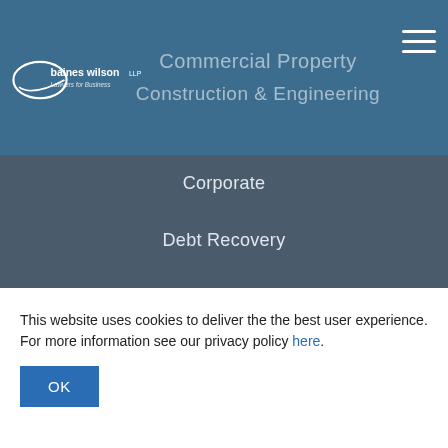[Figure (logo): Baines Wilson LLP logo with tagline 'Lawyers for Business']
Commercial Property
Construction & Engineering
Corporate
Debt Recovery
Dispute Resolution & Litigation
Employment
Employment Law Retainer Service
Employment Law Training
Information Technology
This website uses cookies to deliver the the best user experience. For more information see our privacy policy here.
OK